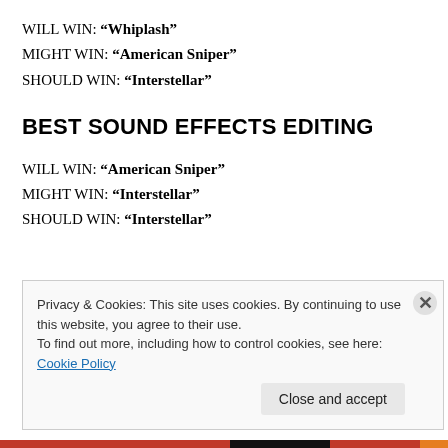WILL WIN: “Whiplash”
MIGHT WIN: “American Sniper”
SHOULD WIN: “Interstellar”
BEST SOUND EFFECTS EDITING
WILL WIN: “American Sniper”
MIGHT WIN: “Interstellar”
SHOULD WIN: “Interstellar”
Privacy & Cookies: This site uses cookies. By continuing to use this website, you agree to their use. To find out more, including how to control cookies, see here: Cookie Policy